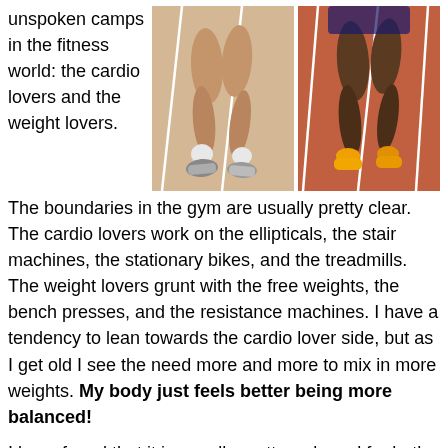unspoken camps in the fitness world: the cardio lovers and the weight lovers.
[Figure (photo): Two photos side by side showing runners' legs on a track — one runner in white shoes on a white/gray track, another runner in yellow/orange shoes on a red track.]
The boundaries in the gym are usually pretty clear. The cardio lovers work on the ellipticals, the stair machines, the stationary bikes, and the treadmills. The weight lovers grunt with the free weights, the bench presses, and the resistance machines. I have a tendency to lean towards the cardio lover side, but as I get old I see the need more and more to mix in more weights. My body just feels better being more balanced!
I have found that it is usually pretty awkward for both parties to cross over. The 250lb man of muscle can feel out of shape next to the petite woman